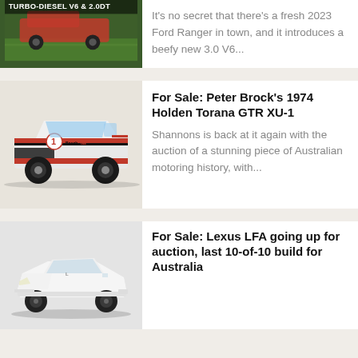[Figure (photo): Partial top card showing off-road vehicle with TURBO-DIESEL V6 & 2.0DT text overlay on green background]
It's no secret that there's a fresh 2023 Ford Ranger in town, and it introduces a beefy new 3.0 V6...
[Figure (photo): Peter Brock's 1974 Holden Torana GTR XU-1 race car, red and white livery with racing number 1, sponsors including Bosch and TAA]
For Sale: Peter Brock's 1974 Holden Torana GTR XU-1
Shannons is back at it again with the auction of a stunning piece of Australian motoring history, with...
[Figure (photo): White Lexus LFA sports car on grey background]
For Sale: Lexus LFA going up for auction, last 10-of-10 build for Australia